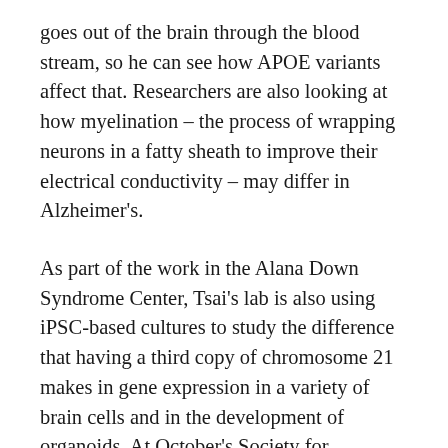goes out of the brain through the blood stream, so he can see how APOE variants affect that. Researchers are also looking at how myelination – the process of wrapping neurons in a fatty sheath to improve their electrical conductivity – may differ in Alzheimer's.
As part of the work in the Alana Down Syndrome Center, Tsai's lab is also using iPSC-based cultures to study the difference that having a third copy of chromosome 21 makes in gene expression in a variety of brain cells and in the development of organoids. At October's Society for Neuroscience (SfN) annual meeting, the team presented some initial results. Hiruy Meharena observed significant physical changes within chromosomes in various brain cell types